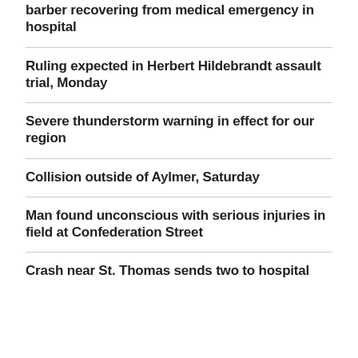barber recovering from medical emergency in hospital
Ruling expected in Herbert Hildebrandt assault trial, Monday
Severe thunderstorm warning in effect for our region
Collision outside of Aylmer, Saturday
Man found unconscious with serious injuries in field at Confederation Street
Crash near St. Thomas sends two to hospital